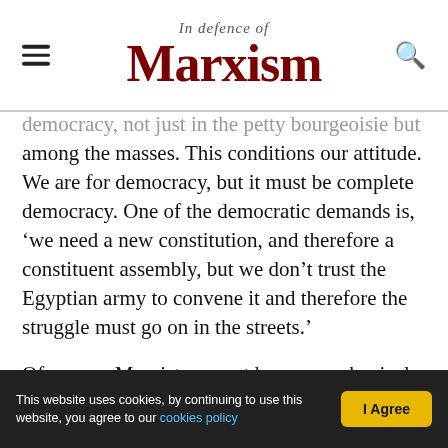In Defence of Marxism
democracy, not just in the petty bourgeoisie but among the masses. This conditions our attitude. We are for democracy, but it must be complete democracy. One of the democratic demands is, ‘we need a new constitution, and therefore a constituent assembly, but we don’t trust the Egyptian army to convene it and therefore the struggle must go on in the streets.’
Of course, Marxists cannot have a mechanical attitude to democratic slogans, which are always subordinate to the general interests of the socialist revolution. We do not share the superstitious
This website uses cookies, by continuing to use this website, you agree to our cookies policy | I Agree